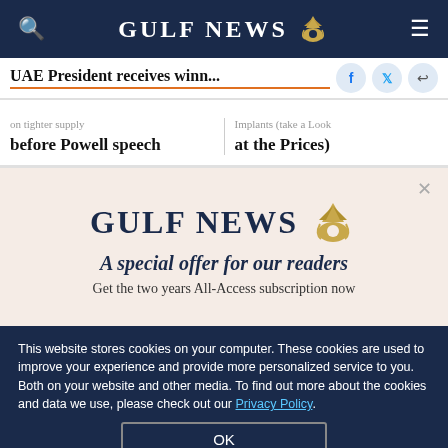GULF NEWS
UAE President receives winn...
on tighter supply before Powell speech
Implants (take a look at the Prices)
[Figure (logo): Gulf News logo with eagle emblem]
A special offer for our readers
Get the two years All-Access subscription now
This website stores cookies on your computer. These cookies are used to improve your experience and provide more personalized service to you. Both on your website and other media. To find out more about the cookies and data we use, please check out our Privacy Policy.
OK